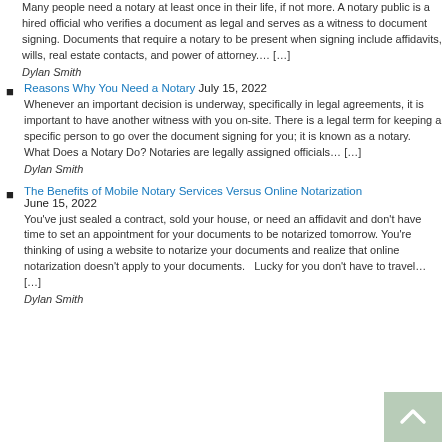Many people need a notary at least once in their life, if not more. A notary public is a hired official who verifies a document as legal and serves as a witness to document signing. Documents that require a notary to be present when signing include affidavits, wills, real estate contacts, and power of attorney.… […]
Dylan Smith
Reasons Why You Need a Notary July 15, 2022
Whenever an important decision is underway, specifically in legal agreements, it is important to have another witness with you on-site. There is a legal term for keeping a specific person to go over the document signing for you; it is known as a notary.   What Does a Notary Do? Notaries are legally assigned officials… […]
Dylan Smith
The Benefits of Mobile Notary Services Versus Online Notarization June 15, 2022
You've just sealed a contract, sold your house, or need an affidavit and don't have time to set an appointment for your documents to be notarized tomorrow. You're thinking of using a website to notarize your documents and realize that online notarization doesn't apply to your documents.   Lucky for you don't have to travel… […]
Dylan Smith